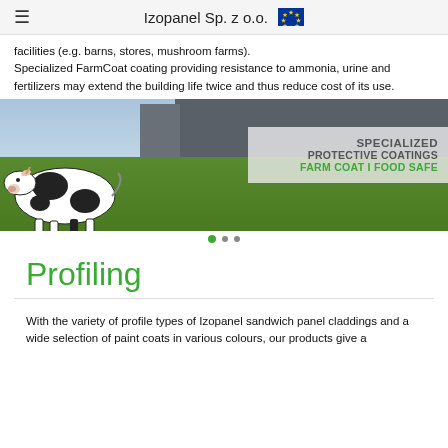Izopanel Sp. z o.o.
facilities (e.g. barns, stores, mushroom farms). Specialized FarmCoat coating providing resistance to ammonia, urine and fertilizers may extend the building life twice and thus reduce cost of its use.
[Figure (photo): Promotional banner image showing a black and white dairy cow standing on green grass in front of a dark grey industrial building. Overlaid text on a semi-transparent white panel reads: SPECIALIZED PROTECTIVE COATINGS FARM COAT I FOOD SAFE. Navigation dots visible at bottom.]
Profiling
With the variety of profile types of Izopanel sandwich panel claddings and a wide selection of paint coats in various colours, our products give a